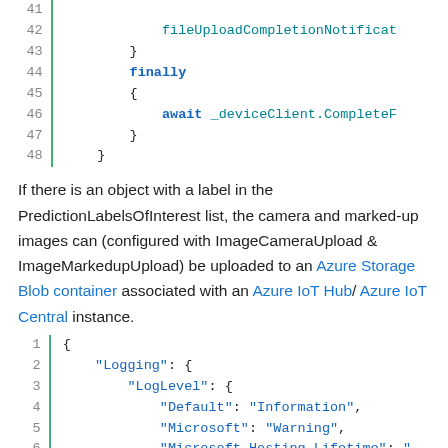[Figure (screenshot): Code block showing lines 41-48 of C# code with line numbers, green vertical bar, syntax highlighting. Lines show fileUploadCompletionNotificat, closing braces, finally block, await _deviceClient.CompleteF, and closing braces.]
If there is an object with a label in the PredictionLabelsOfInterest list, the camera and marked-up images can (configured with ImageCameraUpload & ImageMarkedupUpload) be uploaded to an Azure Storage Blob container associated with an Azure IoT Hub/ Azure IoT Central instance.
[Figure (screenshot): Code block showing lines 1-6 of JSON configuration with syntax highlighting. Lines show opening brace, Logging key, LogLevel key, Default Information, Microsoft Warning, Microsoft.Hosting.Lifetime with opening quote.]